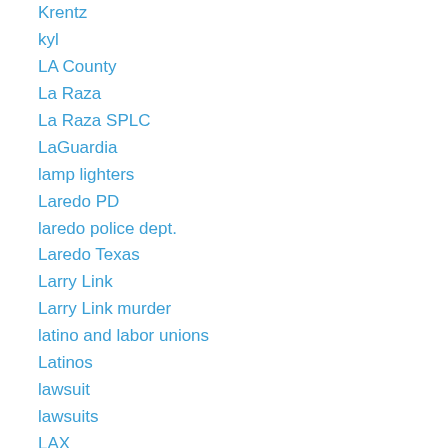Krentz
kyl
LA County
La Raza
La Raza SPLC
LaGuardia
lamp lighters
Laredo PD
laredo police dept.
Laredo Texas
Larry Link
Larry Link murder
latino and labor unions
Latinos
lawsuit
lawsuits
LAX
legal immigration
legalize pot
leonhart